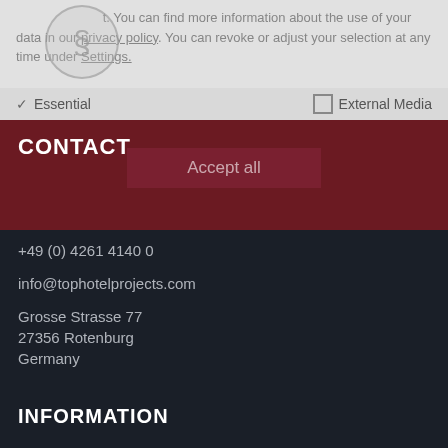measurement. You can find more information about the use of your data in our privacy policy. You can revoke or adjust your selection at any time under Settings.
✓ Essential   □ External Media
CONTACT
Accept all
+49 (0) 4261 4140 0
info@tophotelprojects.com
Grosse Strasse 77
27356 Rotenburg
Germany
INFORMATION